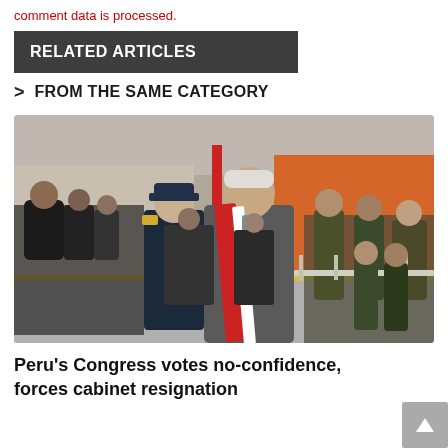comment data is processed.
RELATED ARTICLES
> FROM THE SAME CATEGORY
[Figure (photo): A man in a grey suit wearing a red and white presidential sash walks in a procession flanked by military officials in uniform. A crowd of people in formal attire lines the street in the background. Buildings and a street scene are visible.]
Peru's Congress votes no-confidence, forces cabinet resignation